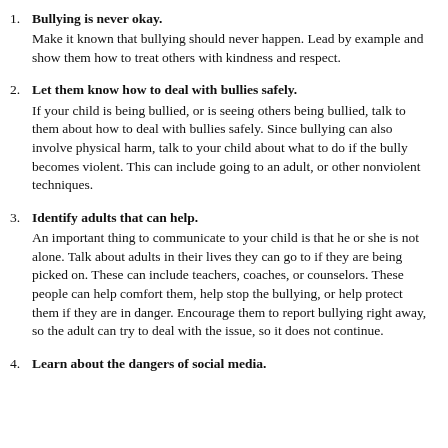1. Bullying is never okay. Make it known that bullying should never happen. Lead by example and show them how to treat others with kindness and respect.
2. Let them know how to deal with bullies safely. If your child is being bullied, or is seeing others being bullied, talk to them about how to deal with bullies safely. Since bullying can also involve physical harm, talk to your child about what to do if the bully becomes violent. This can include going to an adult, or other nonviolent techniques.
3. Identify adults that can help. An important thing to communicate to your child is that he or she is not alone. Talk about adults in their lives they can go to if they are being picked on. These can include teachers, coaches, or counselors. These people can help comfort them, help stop the bullying, or help protect them if they are in danger. Encourage them to report bullying right away, so the adult can try to deal with the issue, so it does not continue.
4. Learn about the dangers of social media.